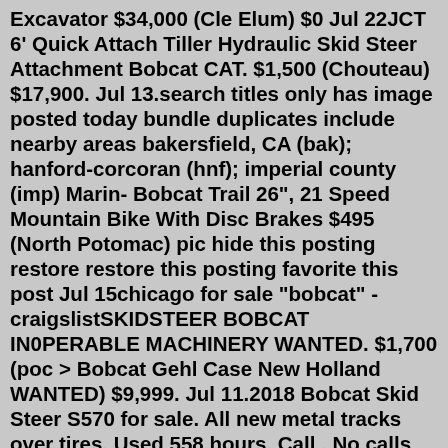Excavator $34,000 (Cle Elum) $0 Jul 22JCT 6' Quick Attach Tiller Hydraulic Skid Steer Attachment Bobcat CAT. $1,500 (Chouteau) $17,900. Jul 13.search titles only has image posted today bundle duplicates include nearby areas bakersfield, CA (bak); hanford-corcoran (hnf); imperial county (imp) Marin- Bobcat Trail 26", 21 Speed Mountain Bike With Disc Brakes $495 (North Potomac) pic hide this posting restore restore this posting favorite this post Jul 15chicago for sale "bobcat" - craigslistSKIDSTEER BOBCAT IN0PERABLE MACHINERY WANTED. $1,700 (poc > Bobcat Gehl Case New Holland WANTED) $9,999. Jul 11.2018 Bobcat Skid Steer S570 for sale. All new metal tracks over tires. Used 558 hours. Call . No calls after 9:00 pm.2015 Bobcat T590 Skid Steer track loader with diesel engine. $34,500. $795. Jun 27.Mustang II, 74-80 Pinto, 75-80 Bobcat passenger arm rests, $10 ea. $10 (SE Portland near Johnson Crk. Blvd.) $29,000.BOBCAT T550 66 HP COMPACT TRACK LOADER. CLEAN ATTACHMENTS GALORE